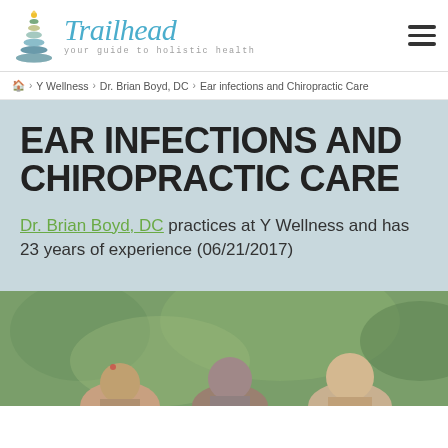[Figure (logo): Trailhead logo with stacked stones and text 'Trailhead your guide to holistic health']
🏠 > Y Wellness > Dr. Brian Boyd, DC > Ear infections and Chiropractic Care
EAR INFECTIONS AND CHIROPRACTIC CARE
Dr. Brian Boyd, DC practices at Y Wellness and has 23 years of experience (06/21/2017)
[Figure (photo): Photo of three children outdoors with green blurred background]